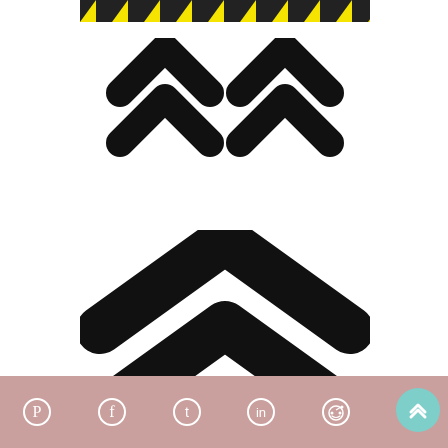[Figure (illustration): Yellow and black diagonal hazard stripe bar at top of page]
[Figure (illustration): Two double chevron/arrow up icons side by side (smaller, top row)]
[Figure (illustration): One large double chevron/arrow up icon (bottom, larger)]
Social share bar with Pinterest, Facebook, Twitter, LinkedIn, Reddit, and Mix icons